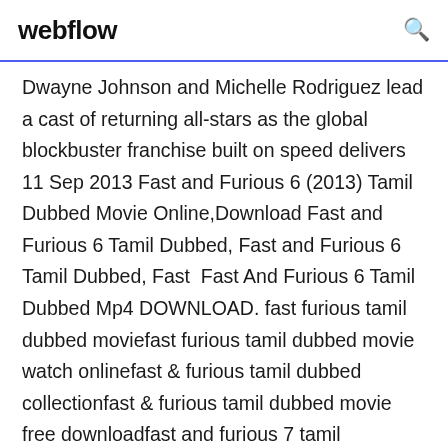webflow
Dwayne Johnson and Michelle Rodriguez lead a cast of returning all-stars as the global blockbuster franchise built on speed delivers 11 Sep 2013 Fast and Furious 6 (2013) Tamil Dubbed Movie Online,Download Fast and Furious 6 Tamil Dubbed, Fast and Furious 6 Tamil Dubbed, Fast  Fast And Furious 6 Tamil Dubbed Mp4 DOWNLOAD. fast furious tamil dubbed moviefast furious tamil dubbed movie watch onlinefast & furious tamil dubbed collectionfast & furious tamil dubbed movie free downloadfast and furious 7 tamil dubbedfast and furious 7 tamil dubbed movie downloadfast and furious 7 tamil dubbed onlinefast and furious 6 tamil dubbedfast and